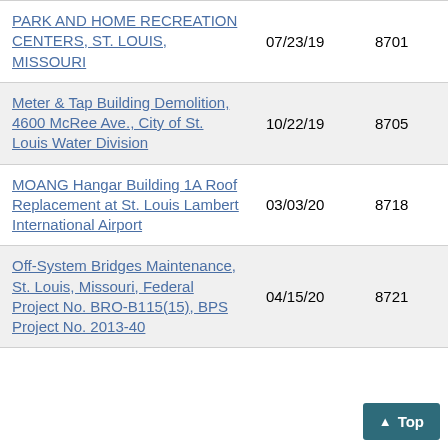| Project Name | Date | Number | Type |
| --- | --- | --- | --- |
| PARK AND HOME RECREATION CENTERS, ST. LOUIS, MISSOURI | 07/23/19 | 8701 | Project |
| Meter & Tap Building Demolition, 4600 McRee Ave., City of St. Louis Water Division | 10/22/19 | 8705 | Project |
| MOANG Hangar Building 1A Roof Replacement at St. Louis Lambert International Airport | 03/03/20 | 8718 | Project |
| Off-System Bridges Maintenance, St. Louis, Missouri, Federal Project No. BRO-B115(15), BPS Project No. 2013-40 | 04/15/20 | 8721 | Project |